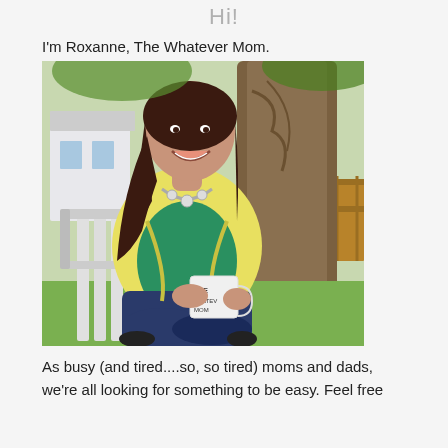Hi!
I'm Roxanne, The Whatever Mom.
[Figure (photo): Woman with dark hair wearing a yellow cardigan over a green top, sitting cross-legged in a white chair in front of a large tree, smiling and holding a white mug that reads 'THE WHATEVER MOM'. Outdoor setting with green grass, wooden fence, and a white house in the background.]
As busy (and tired....so, so tired) moms and dads, we're all looking for something to be easy. Feel free